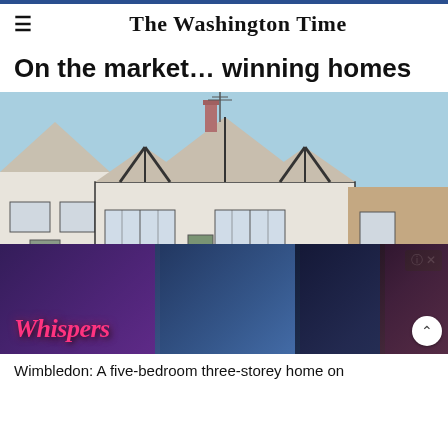The Washington Time
On the market… winning homes
[Figure (photo): Exterior photo of a multi-storey semi-detached white house with dark timber framing, bay windows, brick base, and a blue sky background, with adjacent brick buildings visible. Overlaid by a mobile game advertisement for 'Whispers' featuring romantic imagery.]
Wimbledon: A five-bedroom three-storey home on